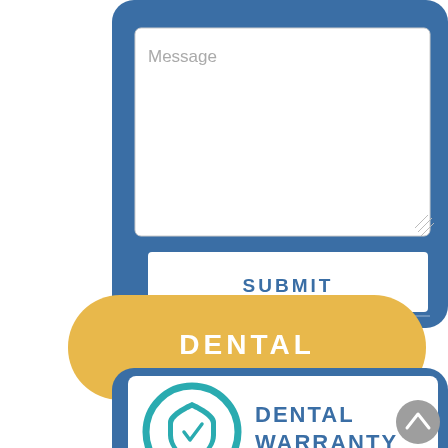[Figure (screenshot): A blue rounded-rectangle contact form panel with a white textarea labeled 'Message' and a white SUBMIT button. Below it, a yellow pill-shaped badge with white text 'DENTAL WARRANTY'. Below that, a blue rounded-rectangle card showing a teal shield logo and the text 'DENTAL WARRANTY' in blue on white. A gray circular scroll-to-top arrow button appears at bottom right.]